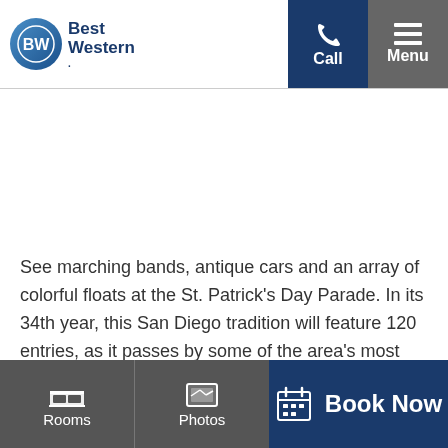[Figure (logo): Best Western logo with BW circle emblem and 'Best Western.' text]
See marching bands, antique cars and an array of colorful floats at the St. Patrick's Day Parade. In its 34th year, this San Diego tradition will feature 120 entries, as it passes by some of the area's most popular pubs and restaurants. Continue reading
Rooms | Photos | Book Now